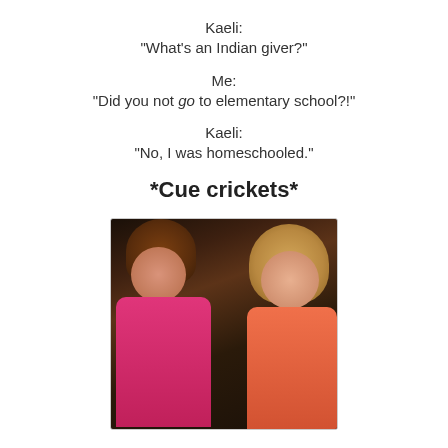Kaeli:
"What's an Indian giver?"
Me:
"Did you not go to elementary school?!"
Kaeli:
"No, I was homeschooled."
*Cue crickets*
[Figure (photo): Two smiling young women posing together. The woman on the left has brown hair and is wearing a pink shirt. The woman on the right is blonde and wearing an orange/coral top.]